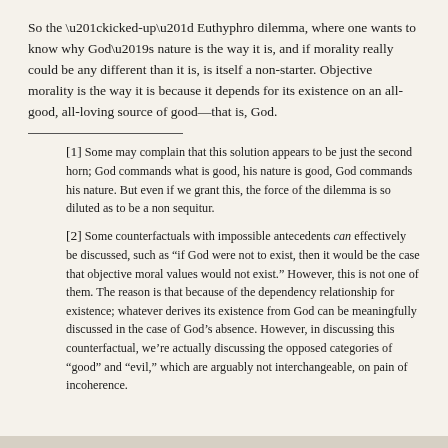So the “kicked-up” Euthyphro dilemma, where one wants to know why God’s nature is the way it is, and if morality really could be any different than it is, is itself a non-starter. Objective morality is the way it is because it depends for its existence on an all-good, all-loving source of good—that is, God.
[1] Some may complain that this solution appears to be just the second horn; God commands what is good, his nature is good, God commands his nature. But even if we grant this, the force of the dilemma is so diluted as to be a non sequitur.
[2] Some counterfactuals with impossible antecedents can effectively be discussed, such as “if God were not to exist, then it would be the case that objective moral values would not exist.” However, this is not one of them. The reason is that because of the dependency relationship for existence; whatever derives its existence from God can be meaningfully discussed in the case of God’s absence. However, in discussing this counterfactual, we’re actually discussing the opposed categories of “good” and “evil,” which are arguably not interchangeable, on pain of incoherence.